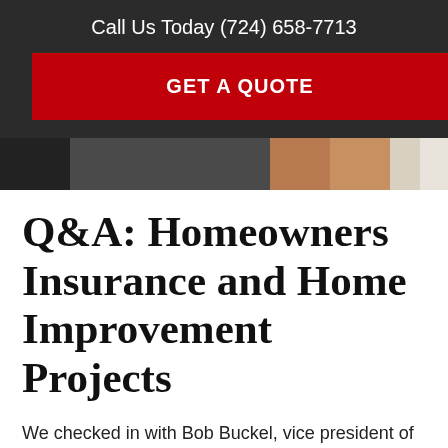Call Us Today (724) 658-7713
GET A QUOTE
[Figure (photo): Photo strip showing a construction/home improvement scene with dark and earthy tones]
Q&A: Homeowners Insurance and Home Improvement Projects
We checked in with Bob Buckel, vice president of product management at Erie Insurance, to ask what homeowners should know about coverage limits and